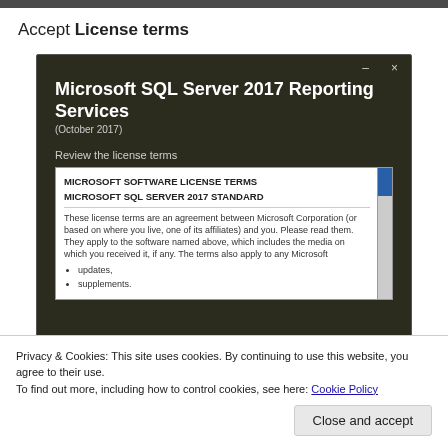Accept License terms
[Figure (screenshot): Screenshot of Microsoft SQL Server 2017 Reporting Services installer window on a dark background, showing the license terms panel with a scrollable white box containing MICROSOFT SOFTWARE LICENSE TERMS for MICROSOFT SQL SERVER 2017 STANDARD.]
Privacy & Cookies: This site uses cookies. By continuing to use this website, you agree to their use.
To find out more, including how to control cookies, see here: Cookie Policy
Close and accept